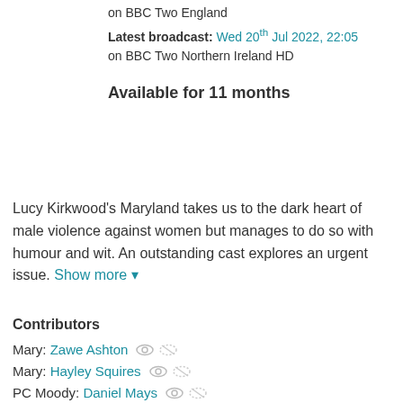on BBC Two England
Latest broadcast: Wed 20th Jul 2022, 22:05 on BBC Two Northern Ireland HD
Available for 11 months
Lucy Kirkwood's Maryland takes us to the dark heart of male violence against women but manages to do so with humour and wit. An outstanding cast explores an urgent issue. Show more ▾
Contributors
Mary: Zawe Ashton
Mary: Hayley Squires
PC Moody: Daniel Mays
PC Eddowes: Justine Mitchell